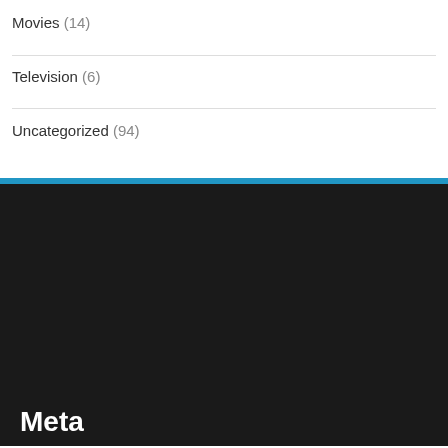Movies (14)
Television (6)
Uncategorized (94)
Meta
Log in
Entries feed
Comments feed
WordPress.org